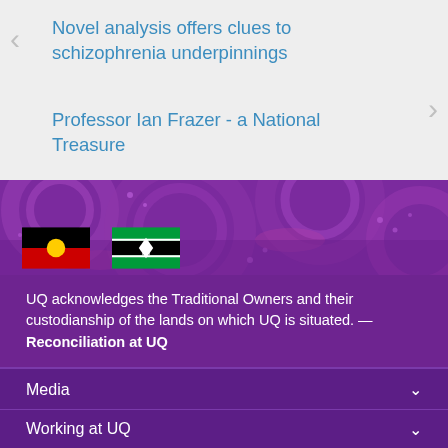Novel analysis offers clues to schizophrenia underpinnings
Professor Ian Frazer - a National Treasure
[Figure (illustration): Aboriginal and Torres Strait Islander flags on a purple decorative background with circular dot art motifs]
UQ acknowledges the Traditional Owners and their custodianship of the lands on which UQ is situated. — Reconciliation at UQ
Media
Working at UQ